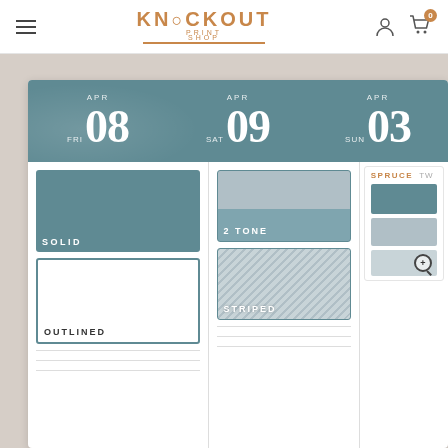[Figure (screenshot): Knockout Print Shop website screenshot showing a weekly planner product page with a navigation bar featuring logo, hamburger menu, user icon, and cart icon (0), along with a calendar product image showing Friday April 08, Saturday April 09, Sunday 03 date headers in teal, and four sticker style options: SOLID, 2 TONE, OUTLINED, STRIPED displayed in a grid layout]
Knockout Print Shop — navigation bar with logo, hamburger menu, user account icon, and shopping cart with 0 items
KNOCKOUT PRINT SHOP
APR FRI 08 | APR SAT 09 | APR SUN 03
SOLID
2 TONE
OUTLINED
STRIPED
SPRUCE | TW...